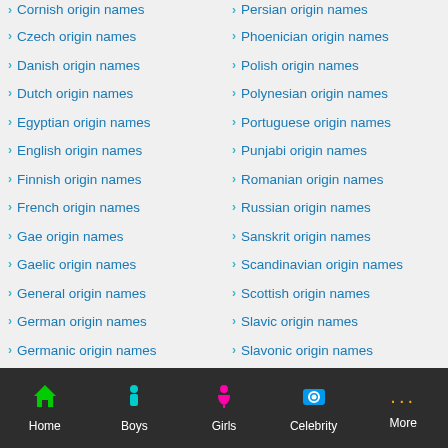Cornish origin names
Czech origin names
Danish origin names
Dutch origin names
Egyptian origin names
English origin names
Finnish origin names
French origin names
Gae origin names
Gaelic origin names
General origin names
German origin names
Germanic origin names
Greek origin names
Persian origin names
Phoenician origin names
Polish origin names
Polynesian origin names
Portuguese origin names
Punjabi origin names
Romanian origin names
Russian origin names
Sanskrit origin names
Scandinavian origin names
Scottish origin names
Slavic origin names
Slavonic origin names
Slovak origin names
Home  Boys  Girls  Celebrity  More